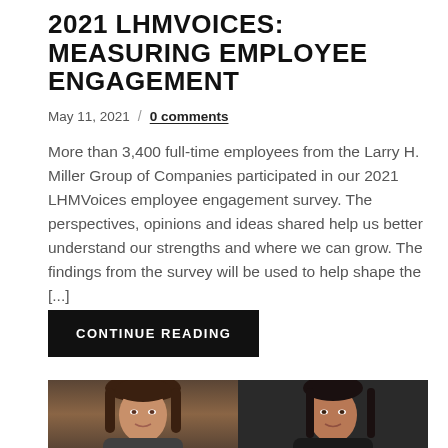2021 LHMVOICES: MEASURING EMPLOYEE ENGAGEMENT
May 11, 2021  /  0 comments
More than 3,400 full-time employees from the Larry H. Miller Group of Companies participated in our 2021 LHMVoices employee engagement survey. The perspectives, opinions and ideas shared help us better understand our strengths and where we can grow. The findings from the survey will be used to help shape the [...]
CONTINUE READING
[Figure (photo): Two professional headshot photos side by side: on the left, a woman with brown hair against a warm brown background; on the right, a woman with dark straight hair against a dark grey background.]